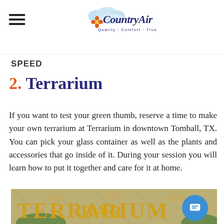Country Air — Quality · Comfort · Trust
SPEED
2. Terrarium
If you want to test your green thumb, reserve a time to make your own terrarium at Terrarium in downtown Tomball, TX. You can pick your glass container as well as the plants and accessories that go inside of it. During your session you will learn how to put it together and care for it at home.
[Figure (photo): Exterior photo of Terrarium Bar restaurant sign with gold letters on a decorative structure, with a chat/message button overlay in the bottom right corner.]